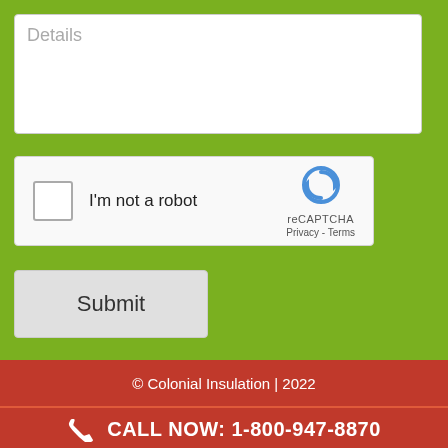Details
[Figure (screenshot): reCAPTCHA widget with checkbox labeled 'I'm not a robot' and the reCAPTCHA logo with Privacy and Terms links]
Submit
© Colonial Insulation | 2022
CALL NOW: 1-800-947-8870